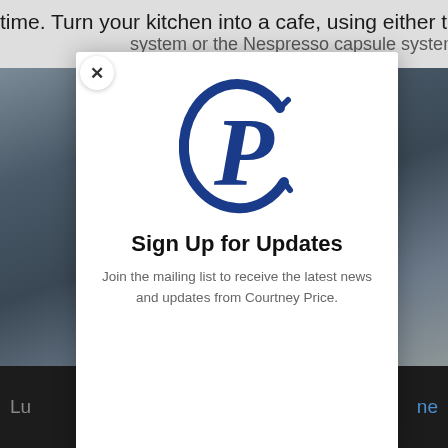time. Turn your kitchen into a cafe, using either the whole bean system or the Nespresso capsule system
[Figure (screenshot): Background photo of denim/textile material with dark tones]
[Figure (logo): Courtney Price logo — intertwined CP monogram in dark navy/blue serif style]
Sign Up for Updates
Join the mailing list to receive the latest news and updates from Courtney Price.
Email